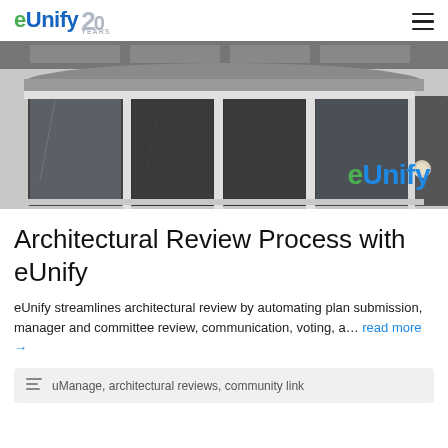eUnify 20 YEARS
[Figure (photo): Black and white photograph of a modern building facade with large glass windows and curved architectural elements. The eUnify logo is overlaid in the lower right corner of the image.]
Architectural Review Process with eUnify
eUnify streamlines architectural review by automating plan submission, manager and committee review, communication, voting, a... read more →
uManage, architectural reviews, community link